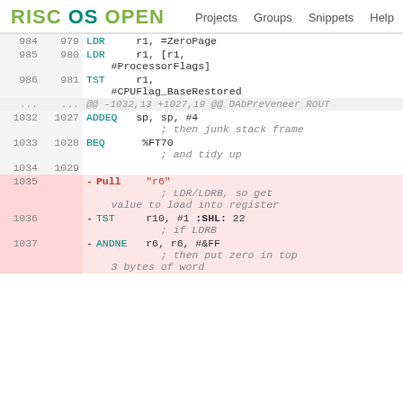RISC OS OPEN   Projects   Groups   Snippets   Help
| Old | New | Code |
| --- | --- | --- |
| 984 | 979 |     LDR     r1, =ZeroPage |
| 985 | 980 |     LDR     r1, [r1, #ProcessorFlags] |
| 986 | 981 |     TST     r1, #CPUFlag_BaseRestored |
| ... | ... | @@ -1032,13 +1027,19 @@ DAbPreVeneer ROUT |
| 1032 | 1027 |     ADDEQ   sp, sp, #4
            ; then junk stack frame |
| 1033 | 1028 |     BEQ     %FT70
            ; and tidy up |
| 1034 | 1029 |  |
| 1035 |  |   - Pull "r6"
            ; LDR/LDRB, so get value to load into register |
| 1036 |  |   - TST     r10, #1 :SHL: 22
            ; if LDRB |
| 1037 |  |   - ANDNE   r6, r6, #&FF
            ; then put zero in top 3 bytes of word |